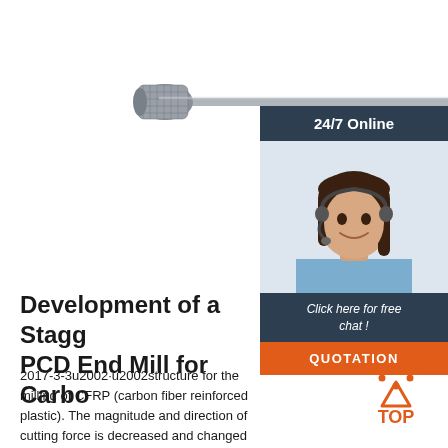[Figure (photo): A long carbide burr / end mill rotary cutting tool with a small cylindrical-cone cutting head and a long metal shank, photographed against a white background.]
[Figure (photo): 24/7 Online chat panel showing a smiling woman wearing a headset, with header '24/7 Online', text 'Click here for free chat!' and an orange QUOTATION button.]
Development of a Staggered PCD End Mill for Carbon
2017-3-3u2002·u2002structure for the milling of CFRP (carbon fiber reinforced plastic). The magnitude and direction of cutting force is decreased and changed by side edge re-configuration of the structure
[Figure (logo): Orange and white TOP button with dotted arc above the text TOP]